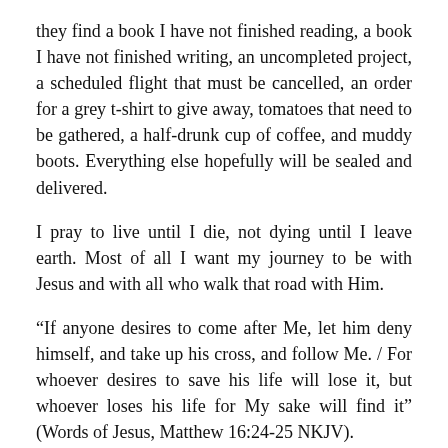they find a book I have not finished reading, a book I have not finished writing, an uncompleted project, a scheduled flight that must be cancelled, an order for a grey t-shirt to give away, tomatoes that need to be gathered, a half-drunk cup of coffee, and muddy boots. Everything else hopefully will be sealed and delivered.
I pray to live until I die, not dying until I leave earth. Most of all I want my journey to be with Jesus and with all who walk that road with Him.
“If anyone desires to come after Me, let him deny himself, and take up his cross, and follow Me. / For whoever desires to save his life will lose it, but whoever loses his life for My sake will find it” (Words of Jesus, Matthew 16:24-25 NKJV).
Whatever is considered lost is nothing but dust anyway!